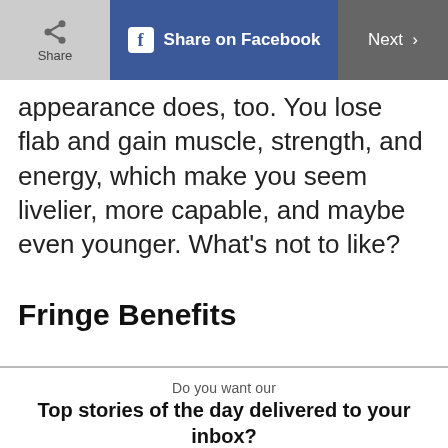Share | Share on Facebook | Next >
appearance does, too. You lose flab and gain muscle, strength, and energy, which make you seem livelier, more capable, and maybe even younger. What’s not to like?
Fringe Benefits
Do you want our
Top stories of the day delivered to your inbox?
YES PLEASE!
NO THANKS